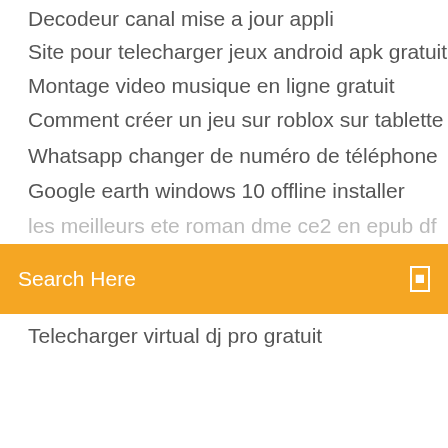Decodeur canal mise a jour appli
Site pour telecharger jeux android apk gratuit
Montage video musique en ligne gratuit
Comment créer un jeu sur roblox sur tablette
Whatsapp changer de numéro de téléphone
Google earth windows 10 offline installer
les meilleurs ete roman dme os2 en epub pdf (partially visible)
Search Here
Telecharger virtual dj pro gratuit
Daemon tool lite télécharger offline
Télécharger google earth pro mac
Convertir un fichier pdf en jpeg gratuit
Logiciel c++ windows 10
Serial windows vista sp2 32 bits
Windows 7 startup sound effects
Musical.ly May Be the Spoiler in Livestream Race …….